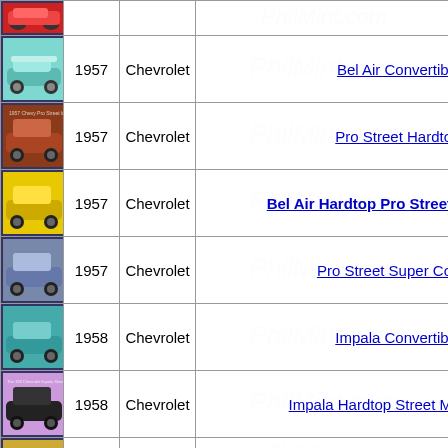| Image | Year | Make | Model |
| --- | --- | --- | --- |
| [car image] |  |  |  |
| [car image] | 1957 | Chevrolet | Bel Air Convertible |
| [car image] | 1957 | Chevrolet | Pro Street Hardtop |
| [car image] | 1957 | Chevrolet | Bel Air Hardtop Pro Street |
| [car image] | 1957 | Chevrolet | Pro Street Super Co |
| [car image] | 1958 | Chevrolet | Impala Convertible |
| [car image] | 1958 | Chevrolet | Impala Hardtop Street M |
| [car image] | 1958 | Chevrolet | Impala Convertible Limite |